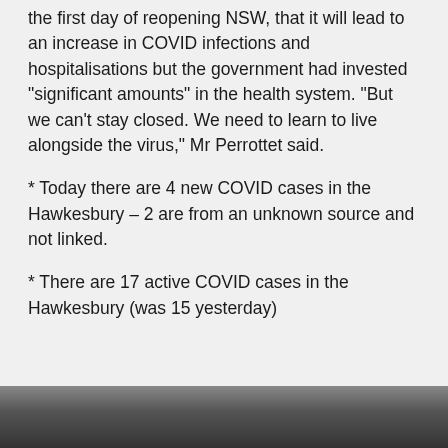the first day of reopening NSW, that it will lead to an increase in COVID infections and hospitalisations but the government had invested "significant amounts" in the health system. "But we can't stay closed. We need to learn to live alongside the virus," Mr Perrottet said.
* Today there are 4 new COVID cases in the Hawkesbury – 2 are from an unknown source and not linked.
* There are 17 active COVID cases in the Hawkesbury (was 15 yesterday)
[Figure (photo): Dark photograph partially visible at the bottom of the page, showing indistinct figures.]